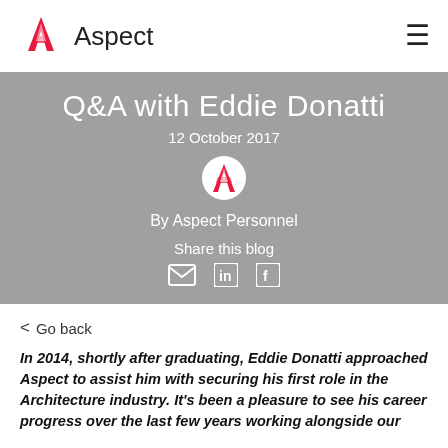[Figure (logo): Aspect Personnel logo with red angular A icon and 'Aspect' text in dark grey]
Q&A with Eddie Donatti
12 October 2017
[Figure (logo): Small circular Aspect logo avatar in white circle]
By Aspect Personnel
Share this blog
[Figure (infographic): Social share icons: email envelope, LinkedIn in, Facebook f]
< Go back
In 2014, shortly after graduating, Eddie Donatti approached Aspect to assist him with securing his first role in the Architecture industry. It’s been a pleasure to see his career progress over the last few years working alongside our